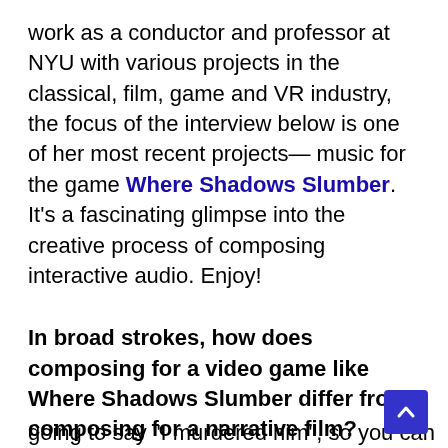work as a conductor and professor at NYU with various projects in the classical, film, game and VR industry, the focus of the interview below is one of her most recent projects— music for the game Where Shadows Slumber. It's a fascinating glimpse into the creative process of composing interactive audio. Enjoy!
In broad strokes, how does composing for a video game like Where Shadows Slumber differ from composing for a narrative film?
I think the clearest answer, and the one everyone tends to use is— in a film, the narrative lines are already established, they don't move… you have your final cut and you know that at minute 48:57 a character is going to say "I murdered him", so you can